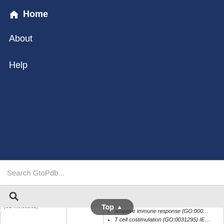🏠 Home
About
Help
Search GtoPdb...
| Gene |  | GO Biological Process |
| --- | --- | --- |
| CD3e (CD molecules) |  | positive regulation of T cell activation
adaptive immune response (GO:000...
T cell costimulation (GO:0031295) IE...
negative thymic T cell selection (GO...
positive regulation of alpha-beta T c... proliferation (GO:0046641) IEA |
| CD4 |  | T cell differentiation (GO:0030217) I...
T cell activation (GO:0042110) IBA
T cell selection (GO:0045058) IDA
regulation of T cell activation (GO:00... |
Top ▲